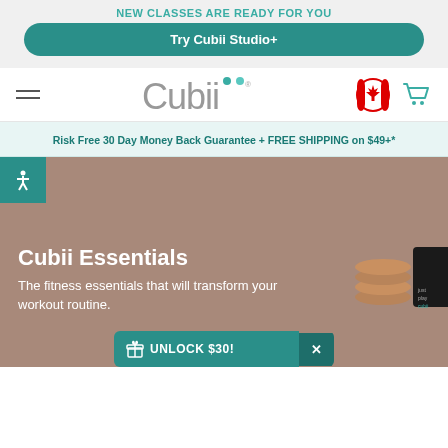NEW CLASSES ARE READY FOR YOU
Try Cubii Studio+
[Figure (logo): Cubii logo with teal dots above the ii letters]
Risk Free 30 Day Money Back Guarantee + FREE SHIPPING on $49+*
Cubii Essentials
The fitness essentials that will transform your workout routine.
UNLOCK $30!